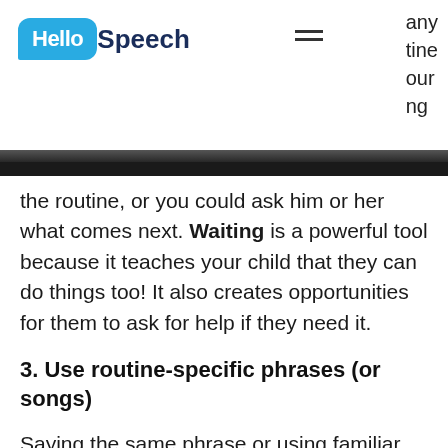Hello Speech [logo] [hamburger menu] ...any ...tine ...our ...ng
the routine, or you could ask him or her what comes next. Waiting is a powerful tool because it teaches your child that they can do things too! It also creates opportunities for them to ask for help if they need it.
3. Use routine-specific phrases (or songs)
Saying the same phrase or using familiar songs/nursery rhymes while doing daily routines help make the language predictable. Your child will eventually anticipate